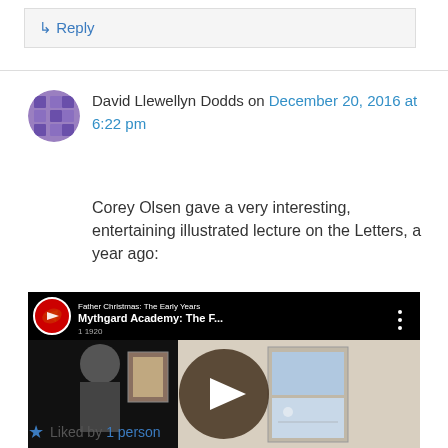↳ Reply
David Llewellyn Dodds on December 20, 2016 at 6:22 pm
Corey Olsen gave a very interesting, entertaining illustrated lecture on the Letters, a year ago:
[Figure (screenshot): YouTube video thumbnail for Mythgard Academy: The F... - Father Christmas: The Early Years, 1920, with a play button overlay]
Liked by 1 person